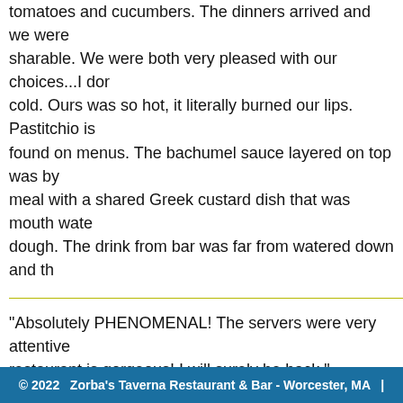tomatoes and cucumbers. The dinners arrived and we were sharable. We were both very pleased with our choices...I dor cold. Ours was so hot, it literally burned our lips. Pastitchio is found on menus. The bachumel sauce layered on top was by meal with a shared Greek custard dish that was mouth wate dough. The drink from bar was far from watered down and th
"Absolutely PHENOMENAL! The servers were very attentive restaurant is gorgeous! I will surely be back."
"We have been there several times now. The portions are lar leftovers. We love their Greek specials. The stuffed peppers and served as I ordered. Seafood was also fresh and delicio good, served promptly and lots to choose from. The specials
© 2022   Zorba's Taverna Restaurant & Bar - Worcester, MA   |